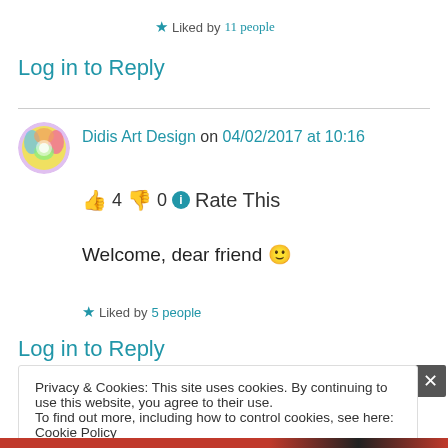★ Liked by 11 people
Log in to Reply
Didis Art Design on 04/02/2017 at 10:16
👍 4 👎 0 ℹ Rate This
Welcome, dear friend 🙂
★ Liked by 5 people
Log in to Reply
Privacy & Cookies: This site uses cookies. By continuing to use this website, you agree to their use. To find out more, including how to control cookies, see here: Cookie Policy
Close and accept